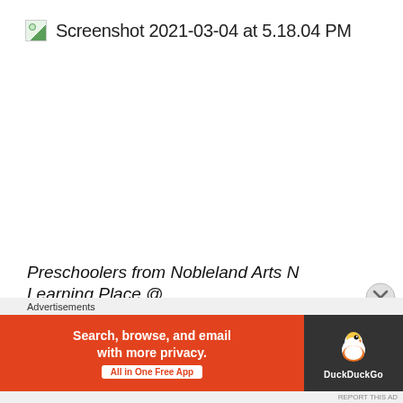[Figure (screenshot): Broken image icon followed by screenshot filename label]
Preschoolers from Nobleland Arts N Learning Place @
Advertisements
[Figure (screenshot): DuckDuckGo advertisement banner: 'Search, browse, and email with more privacy. All in One Free App' with DuckDuckGo logo on dark right panel]